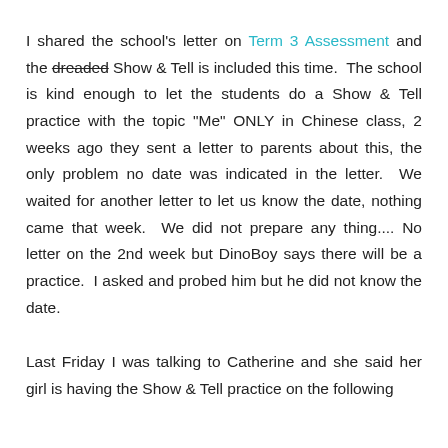I shared the school's letter on Term 3 Assessment and the dreaded Show & Tell is included this time. The school is kind enough to let the students do a Show & Tell practice with the topic "Me" ONLY in Chinese class, 2 weeks ago they sent a letter to parents about this, the only problem no date was indicated in the letter. We waited for another letter to let us know the date, nothing came that week. We did not prepare any thing.... No letter on the 2nd week but DinoBoy says there will be a practice. I asked and probed him but he did not know the date.
Last Friday I was talking to Catherine and she said her girl is having the Show & Tell practice on the following